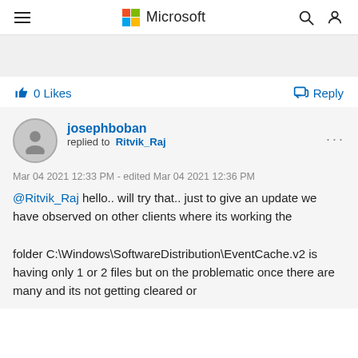Microsoft
[Figure (other): Gray banner/advertisement placeholder]
0 Likes
Reply
josephboban replied to Ritvik_Raj
Mar 04 2021 12:33 PM - edited Mar 04 2021 12:36 PM
@Ritvik_Raj hello.. will try that.. just to give an update we have observed on other clients where its working the folder C:\Windows\SoftwareDistribution\EventCache.v2 is having only 1 or 2 files but on the problematic once there are many and its not getting cleared or